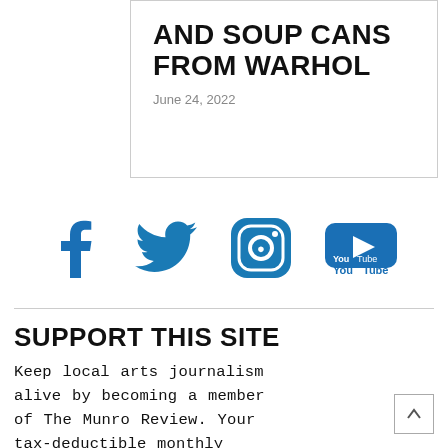AND SOUP CANS FROM WARHOL
June 24, 2022
[Figure (illustration): Social media icons: Facebook, Twitter, Instagram, YouTube — all in blue]
SUPPORT THIS SITE
Keep local arts journalism alive by becoming a member of The Munro Review. Your tax-deductible monthly memberships, sponsorships and donations help sustain